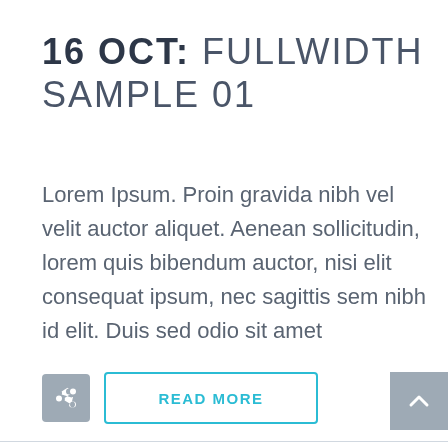16 OCT: FULLWIDTH SAMPLE 01
Lorem Ipsum. Proin gravida nibh vel velit auctor aliquet. Aenean sollicitudin, lorem quis bibendum auctor, nisi elit consequat ipsum, nec sagittis sem nibh id elit. Duis sed odio sit amet
READ MORE